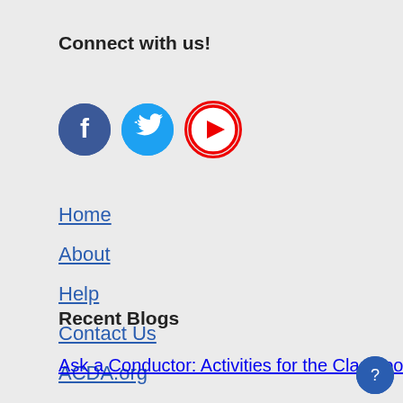Connect with us!
[Figure (infographic): Three social media icons: Facebook (dark blue circle with white f), Twitter (light blue circle with white bird), YouTube (white circle with red border and red play button)]
Home
About
Help
Contact Us
ACDA.org
Recent Blogs
Ask a Conductor: Activities for the Classroom